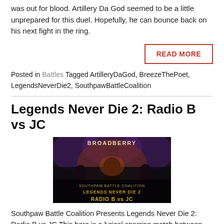was out for blood. Artillery Da God seemed to be a little unprepared for this duel. Hopefully, he can bounce back on his next fight in the ring.
READ MORE
Posted in Battles Tagged ArtilleryDaGod, BreezeThePoet, LegendsNeverDie2, SouthpawBattleCoalition
Legends Never Die 2: Radio B vs JC
[Figure (photo): Photo from Broadberry venue showing performers on stage at Southpaw Battle Coalition Legends Never Die 2: Radio B vs JC event]
Southpaw Battle Coalition Presents Legends Never Die 2: Radio B vs JC This here is a lyrical sparring match between Radio B vs JC! I have to say this is a very interesting match between the two MC's. It's very hard for me to decide a clear winner as they both came prepared for war. Many thought that Radio B might've bitten off more than he could chew vs JC who is